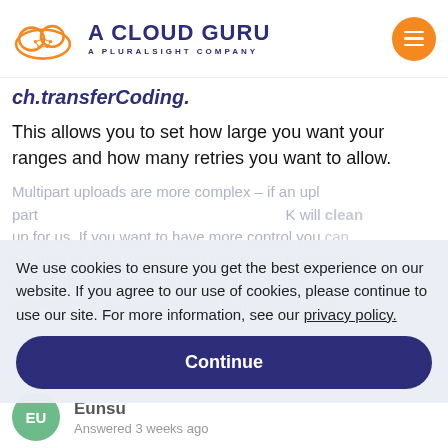A CLOUD GURU — A PLURALSIGHT COMPANY
ch.transferCoding.
This allows you to set how large you want your ranges and how many retries you want to allow.
Multipart uploads are more complex – if an upload part fails, the other parts that got a 200 OK will clean up for us. If you want to have more control you can create a multipart upload and handle the failure of an individual part yourself. This might be worth implementing if you have really large files to load.
We use cookies to ensure you get the best experience on our website. If you agree to our use of cookies, please continue to use our site. For more information, see our privacy policy.
Continue
Eunsu
Answered 3 weeks ago